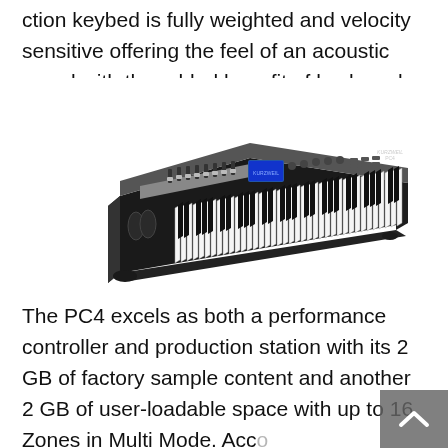ction keybed is fully weighted and velocity sensitive offering the feel of an acoustic grand with the added benefit of keyboard aftertouch.
[Figure (photo): A professional stage piano / performance keyboard workstation (Kurzweil PC4) photographed at an angle, showing the full 88-key weighted keyboard, faders, knobs, display screen, and control panel on a white background.]
The PC4 excels as both a performance controller and production station with its 2 GB of factory sample content and another 2 GB of user-loadable space with up to 16 Zones in Multi Mode. Acc... b...lib...more than 1000 f...        the FX...